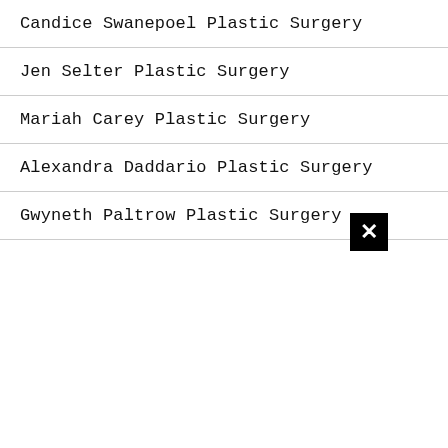Candice Swanepoel Plastic Surgery
Jen Selter Plastic Surgery
Mariah Carey Plastic Surgery
Alexandra Daddario Plastic Surgery
Gwyneth Paltrow Plastic Surgery
[Figure (other): Black close/dismiss button with white X symbol]